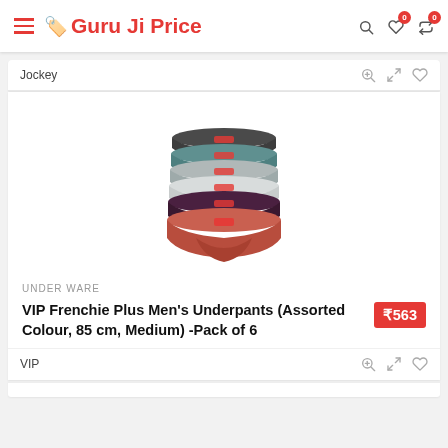Guru Ji Price
Jockey
[Figure (photo): Stack of 6 VIP Frenchie Plus men's briefs in assorted colours including dark grey, teal, light grey, white, maroon, and salmon/rust red, arranged in a fanned vertical stack]
UNDER WARE
VIP Frenchie Plus Men's Underpants (Assorted Colour, 85 cm, Medium) -Pack of 6
₹563
VIP